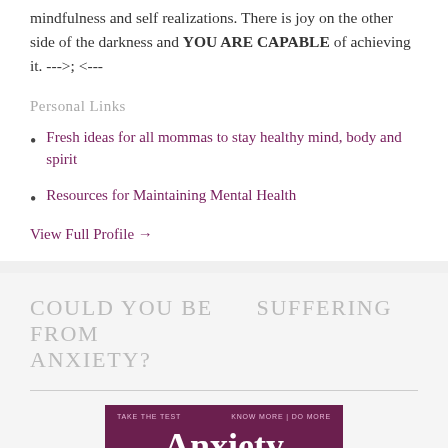mindfulness and self realizations. There is joy on the other side of the darkness and YOU ARE CAPABLE of achieving it. --->; <---
Personal Links
Fresh ideas for all mommas to stay healthy mind, body and spirit
Resources for Maintaining Mental Health
View Full Profile →
COULD YOU BE SUFFERING FROM ANXIETY?
[Figure (photo): Anxiety test promotional image with dark purple background showing the text 'TAKE THE TEST' and 'KNOW MORE | DO MORE' at top, and 'Anxiety' in large white serif font below.]